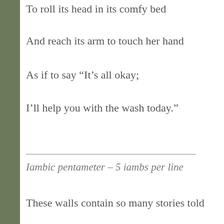To roll its head in its comfy bed
And reach its arm to touch her hand
As if to say “It’s all okay;
I’ll help you with the wash today.”
Iambic pentameter – 5 iambs per line
These walls contain so many stories told